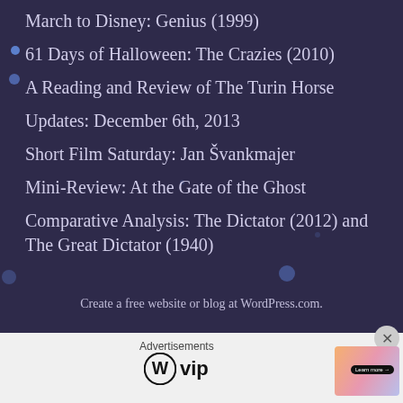March to Disney: Genius (1999)
61 Days of Halloween: The Crazies (2010)
A Reading and Review of The Turin Horse
Updates: December 6th, 2013
Short Film Saturday: Jan Švankmajer
Mini-Review: At the Gate of the Ghost
Comparative Analysis: The Dictator (2012) and The Great Dictator (1940)
Create a free website or blog at WordPress.com.
Advertisements
[Figure (logo): WordPress VIP logo with circular W icon and 'vip' text]
[Figure (infographic): Advertisement banner with gradient background and 'Learn more' button]